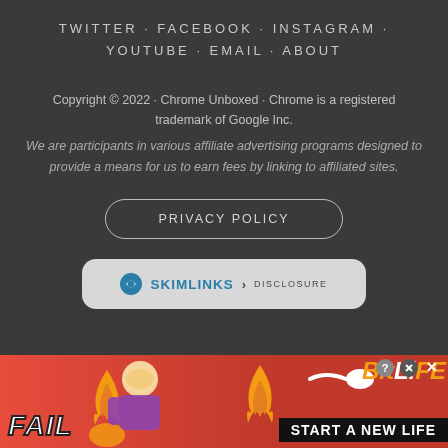TWITTER · FACEBOOK · INSTAGRAM · YOUTUBE · EMAIL · ABOUT
Copyright © 2022 · Chrome Unboxed · Chrome is a registered trademark of Google Inc.
We are participants in various affiliate advertising programs designed to provide a means for us to earn fees by linking to affiliated sites.
PRIVACY POLICY
[Figure (logo): Skimlinks logo badge with teal icon and text SKIMLINKS > DISCLOSURE on a light gray rounded rectangle background]
[Figure (infographic): BitLife game advertisement banner with FAIL text, cartoon woman facepalming, fire graphics, sperm icon, BitLife logo, and START A NEW LIFE caption on red background]